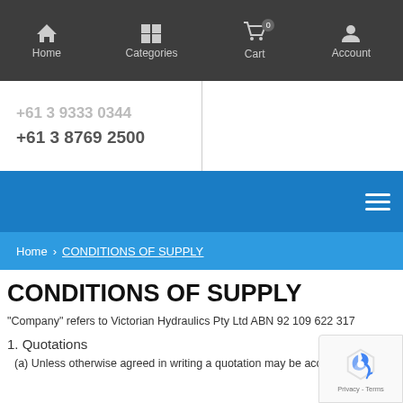Home | Categories | Cart 0 | Account
+61 3 9333 0344
+61 3 8769 2500
[Figure (screenshot): Blue navigation bar with hamburger menu icon]
Home > CONDITIONS OF SUPPLY
CONDITIONS OF SUPPLY
"Company" refers to Victorian Hydraulics Pty Ltd ABN 92 109 622 317
1. Quotations
(a) Unless otherwise agreed in writing a quotation may be accepted